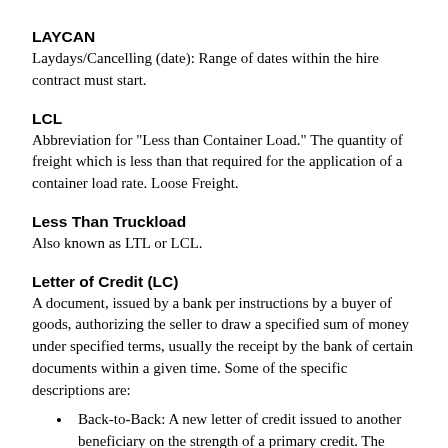LAYCAN
Laydays/Cancelling (date): Range of dates within the hire contract must start.
LCL
Abbreviation for "Less than Container Load." The quantity of freight which is less than that required for the application of a container load rate. Loose Freight.
Less Than Truckload
Also known as LTL or LCL.
Letter of Credit (LC)
A document, issued by a bank per instructions by a buyer of goods, authorizing the seller to draw a specified sum of money under specified terms, usually the receipt by the bank of certain documents within a given time. Some of the specific descriptions are:
Back-to-Back: A new letter of credit issued to another beneficiary on the strength of a primary credit. The second L/C uses the first L/C as collateral for the bank.